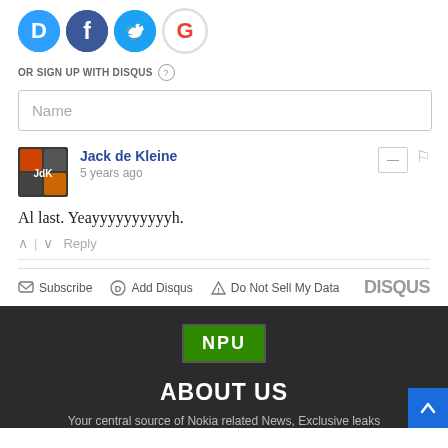[Figure (logo): Social login icons: Disqus (blue D), Facebook (dark blue f), Twitter (light blue bird), Google (red G)]
OR SIGN UP WITH DISQUS (?)
Name
Jack de Kleine
5 years ago
Al last. Yeayyyyyyyyyyh.
^ | v   Reply
✉ Subscribe   Ⓓ Add Disqus   ▲ Do Not Sell My Data   DISQUS
[Figure (logo): NPU logo — white text on green background]
ABOUT US
Your central source of Nokia related News, Exclusive leaks